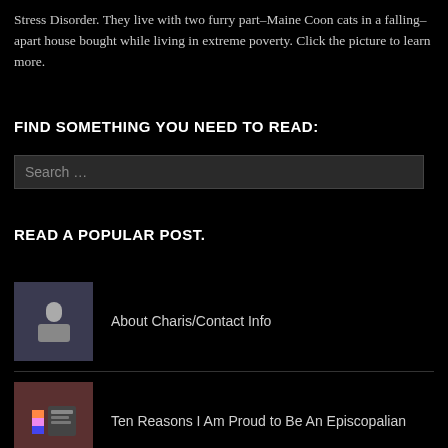Stress Disorder. They live with two furry part–Maine Coon cats in a falling–apart house bought while living in extreme poverty. Click the picture to learn more.
FIND SOMETHING YOU NEED TO READ:
Search …
READ A POPULAR POST.
About Charis/Contact Info
Ten Reasons I Am Proud to Be An Episcopalian
14 Ways To Become a Chronic Disease Advocate